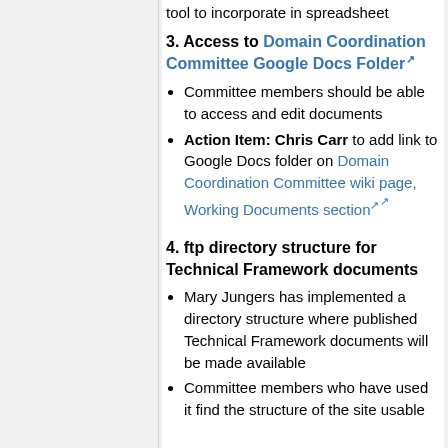tool to incorporate in spreadsheet
3. Access to Domain Coordination Committee Google Docs Folder
Committee members should be able to access and edit documents
Action Item: Chris Carr to add link to Google Docs folder on Domain Coordination Committee wiki page, Working Documents section
4. ftp directory structure for Technical Framework documents
Mary Jungers has implemented a directory structure where published Technical Framework documents will be made available
Committee members who have used it find the structure of the site usable